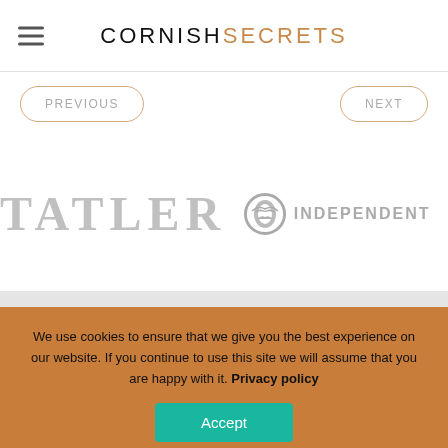CORNISH SECRETS
PREVIOUS
NEXT
[Figure (logo): Tatler magazine logo in gray serif font]
[Figure (logo): The Independent newspaper logo with eagle icon in gray]
We use cookies to ensure that we give you the best experience on our website. If you continue to use this site we will assume that you are happy with it. Privacy policy
Accept